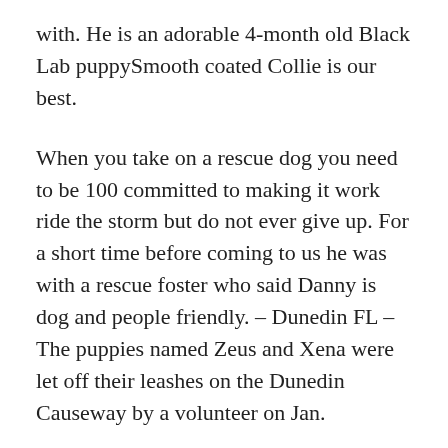with. He is an adorable 4-month old Black Lab puppySmooth coated Collie is our best.
When you take on a rescue dog you need to be 100 committed to making it work ride the storm but do not ever give up. For a short time before coming to us he was with a rescue foster who said Danny is dog and people friendly. – Dunedin FL – The puppies named Zeus and Xena were let off their leashes on the Dunedin Causeway by a volunteer on Jan.
With a very heavy heart we have to rehome our beloved dog kilo. You should NEVER accept a